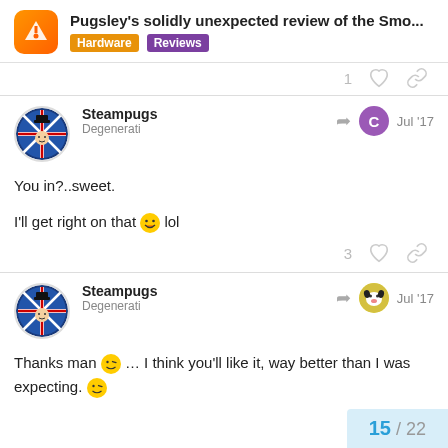Pugsley's solidly unexpected review of the Smo... | Hardware | Reviews
1 [like] [link]
Steampugs
Degenerati
Jul '17

You in?..sweet.

I'll get right on that 😁 lol

3 [like] [link]
Steampugs
Degenerati
Jul '17

Thanks man 😉 … I think you'll like it, way better than I was expecting. 😉
15 / 22